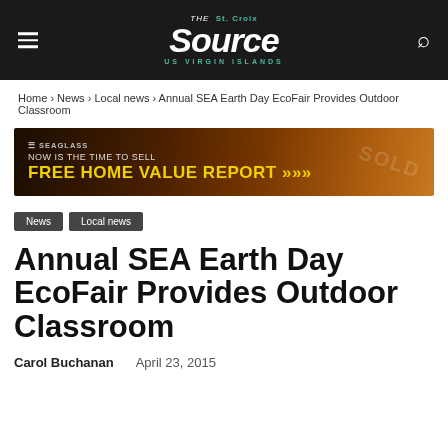The St. Croix Source — US Virgin Islands
Home › News › Local news › Annual SEA Earth Day EcoFair Provides Outdoor Classroom
[Figure (infographic): Seaglass real estate advertisement banner: NOW IS THE TIME TO SELL — FREE HOME VALUE REPORT >>>]
News
Local news
Annual SEA Earth Day EcoFair Provides Outdoor Classroom
Carol Buchanan    April 23, 2015